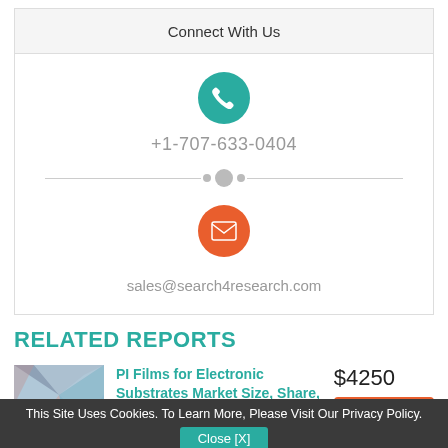Connect With Us
+1-707-633-0404
sales@search4research.com
RELATED REPORTS
[Figure (illustration): Thumbnail image with geometric polygon design in blue and purple tones for PI Films report]
PI Films for Electronic Substrates Market Size, Share, Trends and Covid-19 Impact Analysis By Type
$4250
Buy Now
This Site Uses Cookies. To Learn More, Please Visit Our Privacy Policy.
Close [X]